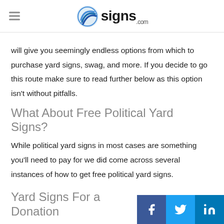signs.com
will give you seemingly endless options from which to purchase yard signs, swag, and more. If you decide to go this route make sure to read further below as this option isn’t without pitfalls.
What About Free Political Yard Signs?
While political yard signs in most cases are something you’ll need to pay for we did come across several instances of how to get free political yard signs.
Yard Signs For a Donation